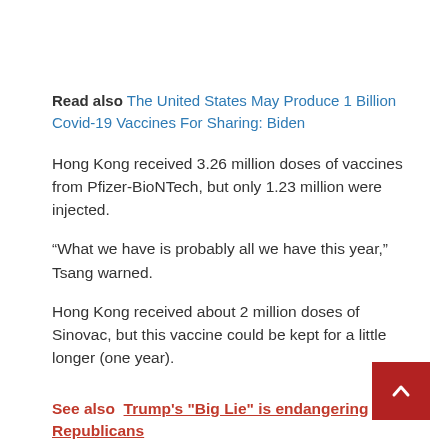Read also The United States May Produce 1 Billion Covid-19 Vaccines For Sharing: Biden
Hong Kong received 3.26 million doses of vaccines from Pfizer-BioNTech, but only 1.23 million were injected.
“What we have is probably all we have this year,” Tsang warned.
Hong Kong received about 2 million doses of Sinovac, but this vaccine could be kept for a little longer (one year).
See also  Trump's "Big Lie" is endangering Republicans